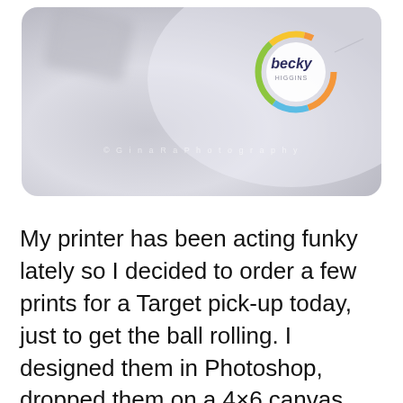[Figure (photo): A close-up photo of a white surface with a colorful circular 'becky' logo/sticker in the upper right, and a blurred object in the upper left. A semi-transparent watermark reads '© GinaRa[...] Photography' across the lower portion.]
My printer has been acting funky lately so I decided to order a few prints for a Target pick-up today, just to get the ball rolling. I designed them in Photoshop, dropped them on a 4×6 canvas and ordered! It was